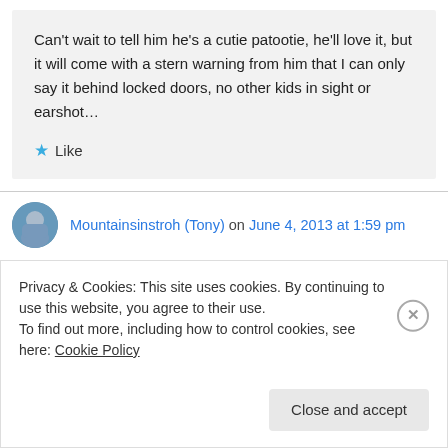Can't wait to tell him he's a cutie patootie, he'll love it, but it will come with a stern warning from him that I can only say it behind locked doors, no other kids in sight or earshot…
★ Like
Mountainsinstroh (Tony) on June 4, 2013 at 1:59 pm
Privacy & Cookies: This site uses cookies. By continuing to use this website, you agree to their use.
To find out more, including how to control cookies, see here: Cookie Policy
Close and accept